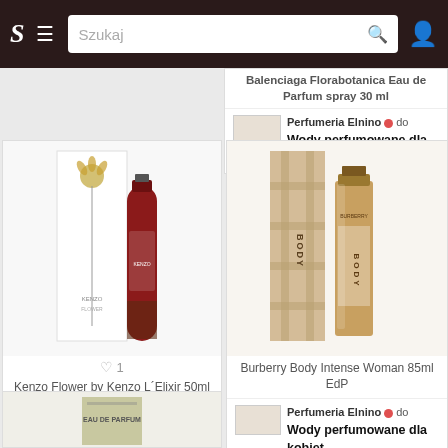S  ≡  Szukaj 🔍
Balenciaga Florabotanica Eau de Parfum spray 30 ml
Perfumeria Elnino • do Wody perfumowane dla kobiet
[Figure (photo): Kenzo Flower by Kenzo L'Elixir 50ml perfume bottle with red curved bottle and white box with flower]
♡ 1
Kenzo Flower by Kenzo L´Elixir 50ml W Woda perfumowana
Perfumeria Elnino • do Wody perfumowane dla kobiet
[Figure (photo): Burberry Body Intense Woman 85ml EdP perfume bottle with beige/tan glass bottle and matching box]
Burberry Body Intense Woman 85ml EdP
Perfumeria Elnino • do Wody perfumowane dla kobiet
[Figure (photo): Partial view of another perfume product at bottom of page]